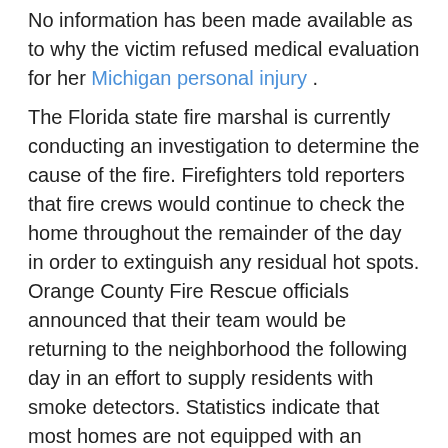No information has been made available as to why the victim refused medical evaluation for her Michigan personal injury . The Florida state fire marshal is currently conducting an investigation to determine the cause of the fire. Firefighters told reporters that fire crews would continue to check the home throughout the remainder of the day in order to extinguish any residual hot spots. Orange County Fire Rescue officials announced that their team would be returning to the neighborhood the following day in an effort to supply residents with smoke detectors. Statistics indicate that most homes are not equipped with an adequate number of smoke detectors. Officials are urging all citizens to increase awareness of fire safety within the home. It is recommended that homes are equipped with the proper number of smoke detectors, as well as fire extinguishers. More